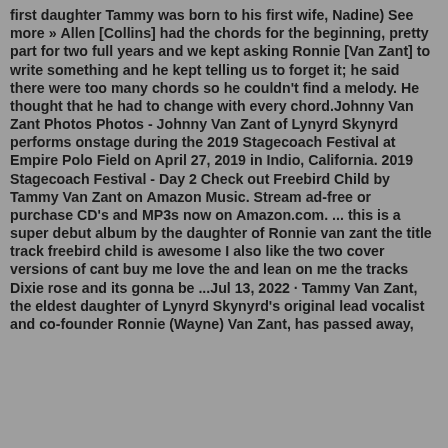first daughter Tammy was born to his first wife, Nadine) See more » Allen [Collins] had the chords for the beginning, pretty part for two full years and we kept asking Ronnie [Van Zant] to write something and he kept telling us to forget it; he said there were too many chords so he couldn't find a melody. He thought that he had to change with every chord.Johnny Van Zant Photos Photos - Johnny Van Zant of Lynyrd Skynyrd performs onstage during the 2019 Stagecoach Festival at Empire Polo Field on April 27, 2019 in Indio, California. 2019 Stagecoach Festival - Day 2 Check out Freebird Child by Tammy Van Zant on Amazon Music. Stream ad-free or purchase CD's and MP3s now on Amazon.com. ... this is a super debut album by the daughter of Ronnie van zant the title track freebird child is awesome I also like the two cover versions of cant buy me love the and lean on me the tracks Dixie rose and its gonna be ...Jul 13, 2022 · Tammy Van Zant, the eldest daughter of Lynyrd Skynyrd's original lead vocalist and co-founder Ronnie (Wayne) Van Zant, has passed away,